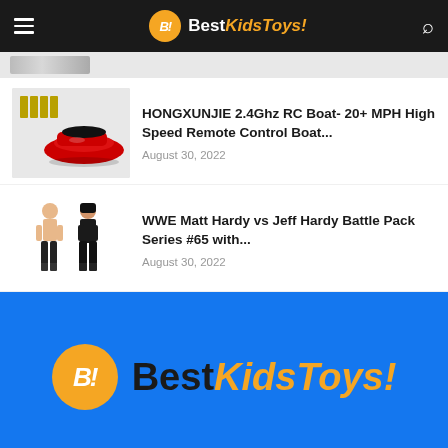BestKidsToys!
[Figure (screenshot): Partial image strip at top of page]
HONGXUNJIE 2.4Ghz RC Boat- 20+ MPH High Speed Remote Control Boat...
August 30, 2022
WWE Matt Hardy vs Jeff Hardy Battle Pack Series #65 with...
August 30, 2022
[Figure (logo): BestKidsToys! logo in footer blue section]